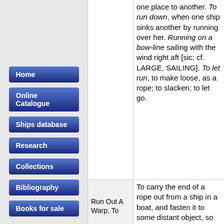Home
Online Catalogue
Ships database
Research
Collections
Bibliography
Books for sale
one place to another. To run down, when one ship sinks another by running over her. Running on a bow-line sailing with the wind right aft [sic; cf. LARGE, SAILING]. To let run, to make loose, as a rope; to slacken; to let go.
Run Out A Warp, To
To carry the end of a rope out from a ship in a boat, and fasten it to some distant object, so that